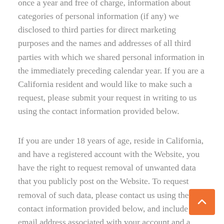once a year and free of charge, information about categories of personal information (if any) we disclosed to third parties for direct marketing purposes and the names and addresses of all third parties with which we shared personal information in the immediately preceding calendar year. If you are a California resident and would like to make such a request, please submit your request in writing to us using the contact information provided below.
If you are under 18 years of age, reside in California, and have a registered account with the Website, you have the right to request removal of unwanted data that you publicly post on the Website. To request removal of such data, please contact us using the contact information provided below, and include the email address associated with your account and a statement that you reside in California. We will